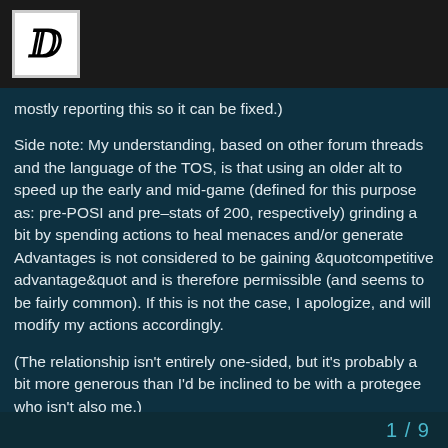[Forum logo/icon]
mostly reporting this so it can be fixed.)
Side note: My understanding, based on other forum threads and the language of the TOS, is that using an older alt to speed up the early and mid-game (defined for this purpose as: pre-POSI and pre–stats of 200, respectively) grinding a bit by spending actions to heal menaces and/or generate Advantages is not considered to be gaining &quotcompetitive advantage&quot and is therefore permissible (and seems to be fairly common). If this is not the case, I apologize, and will modify my actions accordingly.
(The relationship isn't entirely one-sided, but it's probably a bit more generous than I'd be inclined to be with a protegee who isn't also me.)
Update: I just tested Allow an Acquaintance to Alleviate your Fears -> Talk through your troubles with them, and this is broken in the same way:
1 / 9